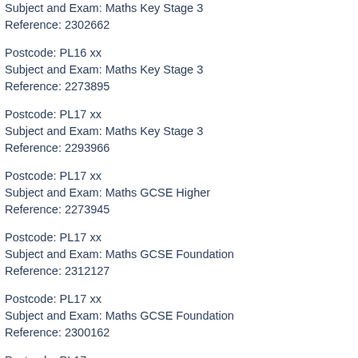Subject and Exam: Maths Key Stage 3
Reference: 2302662
Postcode: PL16 xx
Subject and Exam: Maths Key Stage 3
Reference: 2273895
Postcode: PL17 xx
Subject and Exam: Maths Key Stage 3
Reference: 2293966
Postcode: PL17 xx
Subject and Exam: Maths GCSE Higher
Reference: 2273945
Postcode: PL17 xx
Subject and Exam: Maths GCSE Foundation
Reference: 2312127
Postcode: PL17 xx
Subject and Exam: Maths GCSE Foundation
Reference: 2300162
Postcode: PL17 xx
Subject and Exam: Maths GCSE Foundation
Reference: 2300362